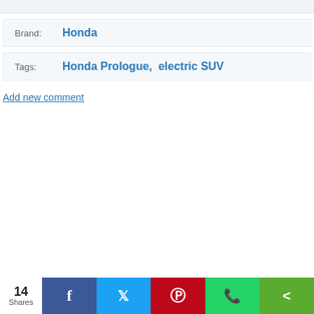Brand: Honda
Tags: Honda Prologue, electric SUV
Add new comment
14 Shares | Facebook | Twitter | Pinterest | WhatsApp | Share